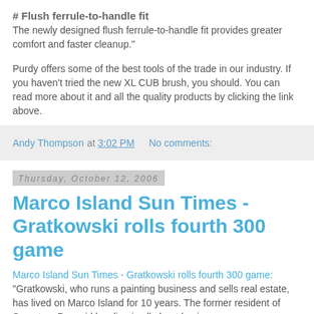# Flush ferrule-to-handle fit
The newly designed flush ferrule-to-handle fit provides greater comfort and faster cleanup."
Purdy offers some of the best tools of the trade in our industry. If you haven't tried the new XL CUB brush, you should. You can read more about it and all the quality products by clicking the link above.
Andy Thompson at 3:02 PM   No comments:
Thursday, October 12, 2006
Marco Island Sun Times - Gratkowski rolls fourth 300 game
Marco Island Sun Times - Gratkowski rolls fourth 300 game: "Gratkowski, who runs a painting business and sells real estate, has lived on Marco Island for 10 years. The former resident of Scranton, Pa. said bowling is all about having a